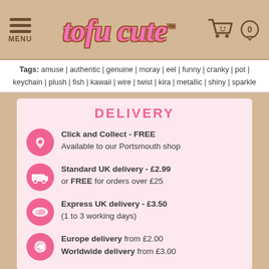tofu cute™ — MENU | cart 0
Tags: amuse | authentic | genuine | moray | eel | funny | cranky | pot | keychain | plush | fish | kawaii | wire | twist | kira | metallic | shiny | sparkle
DELIVERY
Click and Collect - FREE — Available to our Portsmouth shop
Standard UK delivery - £2.99 or FREE for orders over £25
Express UK delivery - £3.50 (1 to 3 working days)
Europe delivery from £2.00 Worldwide delivery from £3.00
Order multiple items together for even better value airmail prices.
View full Delivery Information >